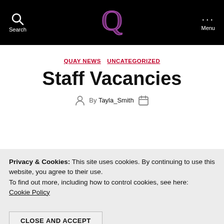Search | Q [logo] | Menu
QUAY NEWS   UNCATEGORIZED
Staff Vacancies
By Tayla_Smith
Privacy & Cookies: This site uses cookies. By continuing to use this website, you agree to their use.
To find out more, including how to control cookies, see here:
Cookie Policy
CLOSE AND ACCEPT